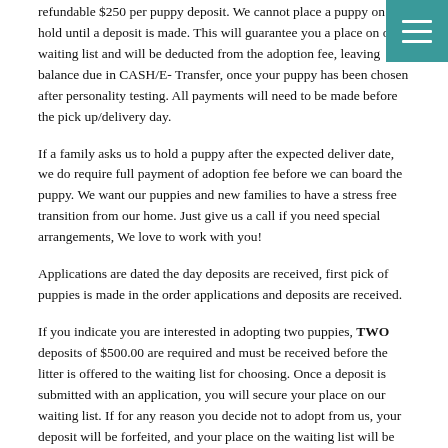refundable $250 per puppy deposit. We cannot place a puppy on hold until a deposit is made. This will guarantee you a place on our waiting list and will be deducted from the adoption fee, leaving balance due in CASH/E-Transfer, once your puppy has been chosen after personality testing. All payments will need to be made before the pick up/delivery day.
If a family asks us to hold a puppy after the expected deliver date, we do require full payment of adoption fee before we can board the puppy. We want our puppies and new families to have a stress free transition from our home. Just give us a call if you need special arrangements, We love to work with you!
Applications are dated the day deposits are received, first pick of puppies is made in the order applications and deposits are received.
If you indicate you are interested in adopting two puppies, TWO deposits of $500.00 are required and must be received before the litter is offered to the waiting list for choosing. Once a deposit is submitted with an application, you will secure your place on our waiting list. If for any reason you decide not to adopt from us, your deposit will be forfeited, and your place on the waiting list will be given to the next family in line.
Continuing Updates Through Pregnancy: